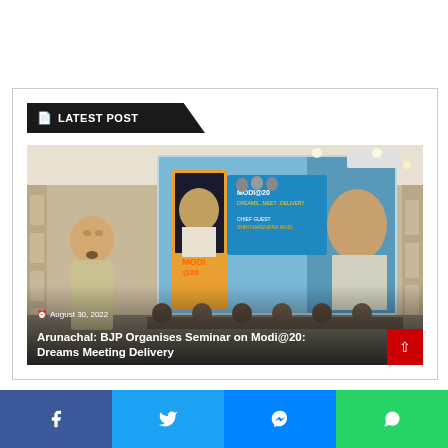LATEST POST
[Figure (photo): A man standing at a podium in front of a large projected screen showing a Modi@20: Dreams Meet Delivery seminar backdrop. Several people are seated at a conference table in the background.]
August 30, 2022
Arunachal: BJP Organises Seminar on Modi@20: Dreams Meeting Delivery